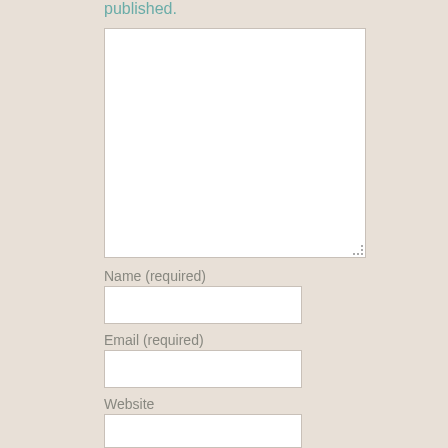published.
[Figure (other): Large white text area / comment box with resize handle at bottom right]
Name (required)
[Figure (other): Name input field, white rectangle]
Email (required)
[Figure (other): Email input field, white rectangle]
Website
[Figure (other): Website input field, white rectangle]